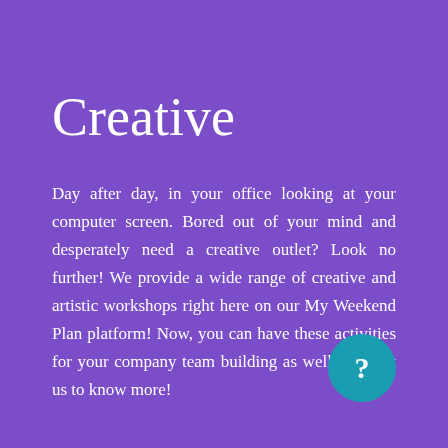Creative
Day after day, in your office looking at your computer screen. Bored out of your mind and desperately need a creative outlet? Look no further! We provide a wide range of creative and artistic workshops right here on our My Weekend Plan platform! Now, you can have these activities for your company team building as well! Contact us to know more!
[Figure (other): Teal circle with a white question mark icon]